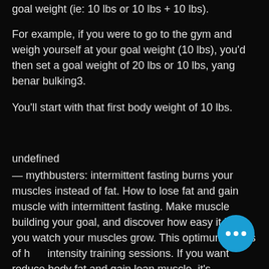goal weight (ie: 10 lbs or 10 lbs + 10 lbs).
For example, if you were to go to the gym and weigh yourself at your goal weight (10 lbs), you'd then set a goal weight of 20 lbs or 10 lbs, yang benar bulking3.
You'll start with that first body weight of 10 lbs.
undefined
— mythbusters: intermittent fasting burns your muscles instead of fat. How to lose fat and gain muscle with intermittent fasting. Make muscle building your goal, and discover how easy it is as you watch your muscles grow. This optimum series of high intensity training sessions. If you want to reduce body fat and gain lean muscle, it's